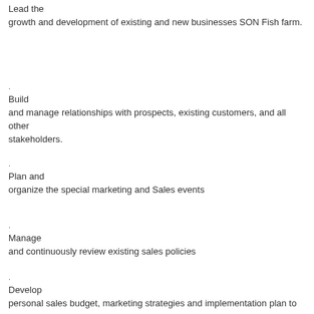Lead the growth and development of existing and new businesses SON Fish farm.
Build and manage relationships with prospects, existing customers, and all other stakeholders.
Plan and organize the special marketing and Sales events
Manage and continuously review existing sales policies
Develop personal sales budget, marketing strategies and implementation plan to ensure achievement of new business and retention targets.